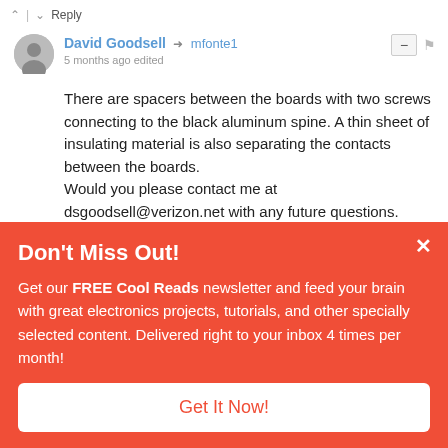Reply
David Goodsell → mfonte1
5 months ago edited
There are spacers between the boards with two screws connecting to the black aluminum spine. A thin sheet of insulating material is also separating the contacts between the boards.
Would you please contact me at dsgoodsell@verizon.net with any future questions. Thank you.
Reply
Don't Miss Out!
Get our FREE Cool Reads newsletter and feed your brain with great electronics projects, tutorials, and other specially selected content. Delivered right to your inbox 4 times per month!
Get It Now!